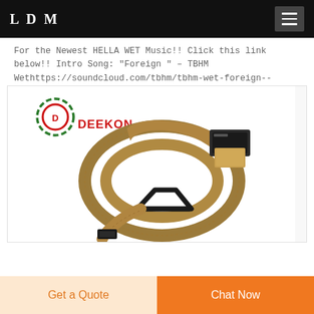LDM
For the Newest HELLA WET Music!! Click this link below!! Intro Song: "Foreign " - TBHM Wethttps://soundcloud.com/tbhm/tbhm-wet-foreign--aqualibrium-c...
[Figure (photo): Photo of a tan/coyote brown tactical military belt coiled/folded, with black metal hardware buckle. DEEKON brand logo visible in upper left of image.]
Get a Quote
Chat Now